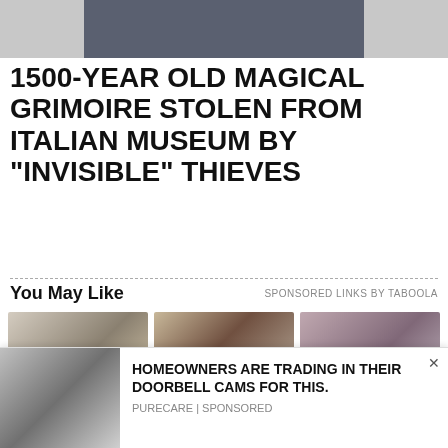[Figure (photo): Top portion of a news article page showing a cropped image of people in dark clothing]
1500-YEAR OLD MAGICAL GRIMOIRE STOLEN FROM ITALIAN MUSEUM BY "INVISIBLE" THIEVES
You May Like    SPONSORED LINKS BY TABOOLA
[Figure (photo): Hand holding a small white security/doorbell camera]
[Figure (photo): Hand holding a white bulb-shaped security camera mounted near a wall lantern]
[Figure (photo): Woman receiving medical treatment, tilting head back]
HOMEOWNERS ARE TRADING IN THEIR...
HOMEOWNERS ARE TRADING IN THEIR...
BIOLOGICAL TREATMENT FOR PSORIASIS...
[Figure (photo): Security camera held in hand - bottom left thumbnail]
HOMEOWNERS ARE TRADING IN THEIR DOORBELL CAMS FOR THIS.
PURECARE | SPONSORED